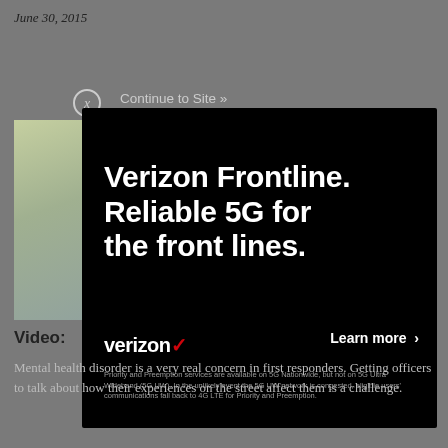June 30, 2015
Continue to Site »
[Figure (screenshot): Outdoor photo showing a vehicle and trees, partially visible behind the ad overlay]
[Figure (infographic): Verizon Frontline advertisement popup on black background. Headline: 'Verizon Frontline. Reliable 5G for the front lines.' Verizon logo, 'Learn more >' button, and footnote about Priority and Preemption services.]
Video:
Mental health disorder is a very real concern in first responders. Getting officers to talk about how their experiences on the street affect them is a challenge.